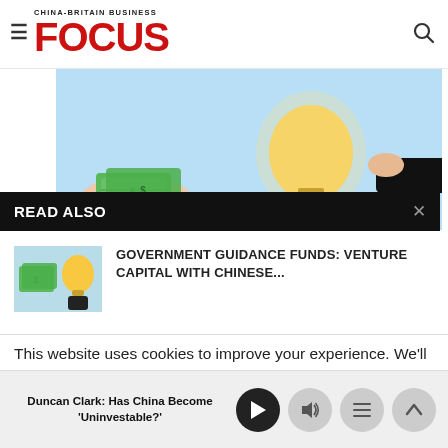CHINA-BRITAIN BUSINESS FOCUS
[Figure (illustration): Illustration of hands exchanging money and a glowing light bulb, representing investment/venture capital]
READ ALSO
[Figure (illustration): Thumbnail image showing hands with money and a lightbulb]
GOVERNMENT GUIDANCE FUNDS: VENTURE CAPITAL WITH CHINESE...
[Figure (photo): Photo of a man in a suit, likely Duncan Clark]
FUNDS: VENTURE TH...
This website uses cookies to improve your experience. We'll
Duncan Clark: Has China Become 'Uninvestable?'